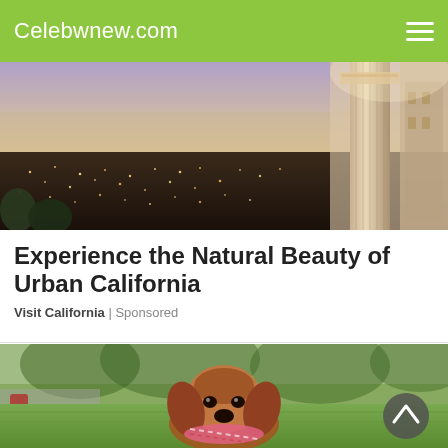Celebwnew.com
[Figure (photo): Aerial/elevated panoramic photo of an urban California cityscape at dusk/twilight with city lights glowing, taken from a high vantage point with a classical building column visible on the right]
Experience the Natural Beauty of Urban California
Visit California | Sponsored
[Figure (photo): Close-up photo of a brown Cavalier King Charles Spaniel puppy lying on green grass outdoors, holding a pink/white rope toy in its mouth, with a blurred park background]